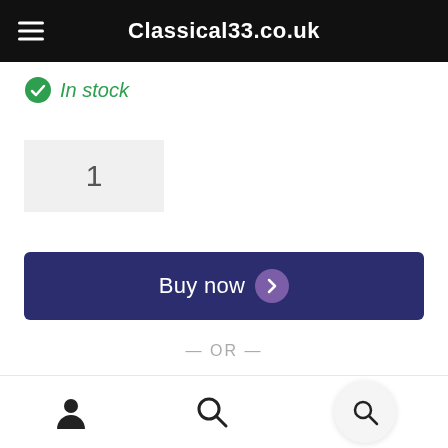Classical33.co.uk
In stock
1
Buy now
— OR —
Add to basket